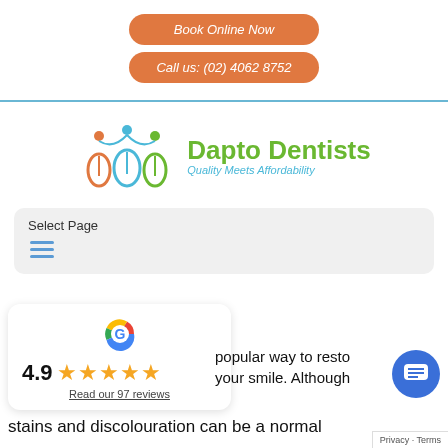Book Online Now
Call us: (02) 4062 8752
[Figure (logo): Dapto Dentists logo with tooth icons and tagline Quality Meets Affordability]
Select Page
[Figure (other): Hamburger menu icon with three blue lines]
[Figure (other): Google G logo in multicolor circle]
4.9
★★★★★
Read our 97 reviews
popular way to restore your smile. Although stains and discolouration can be a normal